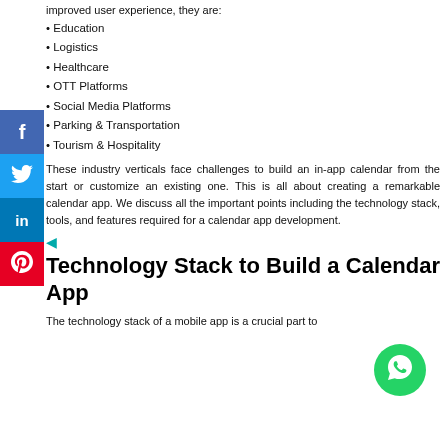improved user experience, they are:
• Education
• Logistics
• Healthcare
• OTT Platforms
• Social Media Platforms
• Parking & Transportation
• Tourism & Hospitality
These industry verticals face challenges to build an in-app calendar from the start or customize an existing one. This is all about creating a remarkable calendar app. We discuss all the important points including the technology stack, tools, and features required for a calendar app development.
Technology Stack to Build a Calendar App
The technology stack of a mobile app is a crucial part to